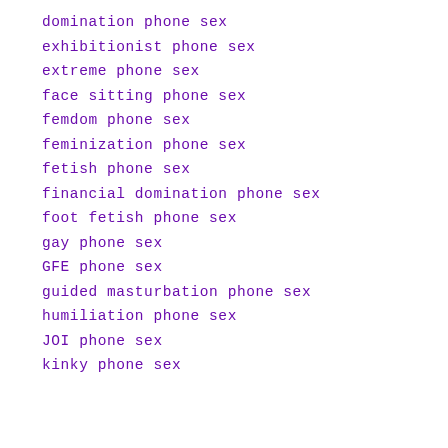domination phone sex
exhibitionist phone sex
extreme phone sex
face sitting phone sex
femdom phone sex
feminization phone sex
fetish phone sex
financial domination phone sex
foot fetish phone sex
gay phone sex
GFE phone sex
guided masturbation phone sex
humiliation phone sex
JOI phone sex
kinky phone sex